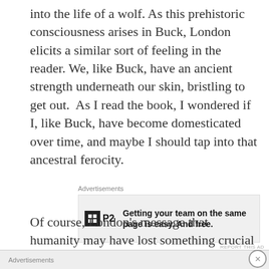into the life of a wolf. As this prehistoric consciousness arises in Buck, London elicits a similar sort of feeling in the reader. We, like Buck, have an ancient strength underneath our skin, bristling to get out.  As I read the book, I wondered if I, like Buck, have become domesticated over time, and maybe I should tap into that ancestral ferocity.
[Figure (other): Advertisement box for P2 service: logo with grid icon and 'P2' text, bold headline 'Getting your team on the same page is easy. And free.']
Of course, London's message that humanity may have lost something crucial to our identity flies in the face of the idea that humanity is gradually improving. Maybe that's why the Nazis burned Call
Advertisements